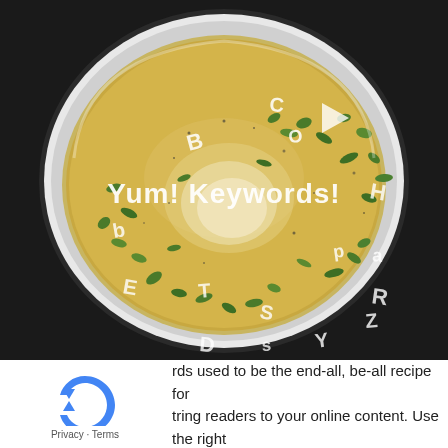[Figure (photo): A white bowl of soup (alphabet soup) with pasta letters floating in a golden broth with chopped herbs. Text overlay reads 'Yum! Keywords!' in white letters across the middle of the bowl.]
rds used to be the end-all, be-all recipe for tring readers to your online content. Use the right